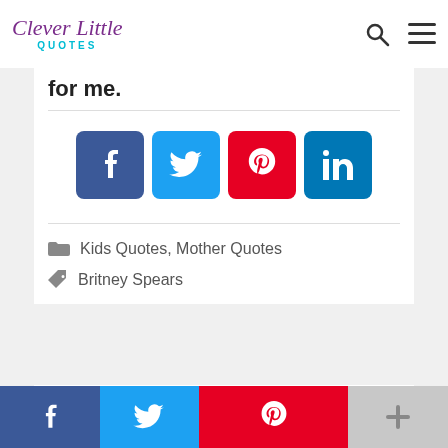Clever Little QUOTES
for me.
[Figure (infographic): Social share buttons: Facebook (blue), Twitter (cyan), Pinterest (red), LinkedIn (dark blue)]
Kids Quotes, Mother Quotes
Britney Spears
I love my jeans and my sweats-I'm really just a tomboy at heart. So it's really hard for me to be like Kim
[Figure (infographic): Bottom social share bar: Facebook (dark blue), Twitter (cyan), Pinterest (red), More/Plus (gray)]